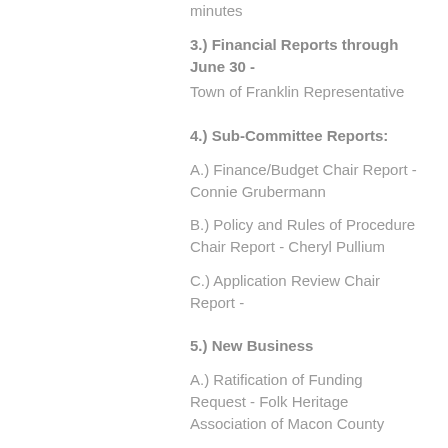minutes
3.) Financial Reports through June 30 - Town of Franklin Representative
4.) Sub-Committee Reports:
A.) Finance/Budget Chair Report - Connie Grubermann
B.) Policy and Rules of Procedure Chair Report - Cheryl Pullium
C.) Application Review Chair Report -
5.) New Business
A.) Ratification of Funding Request - Folk Heritage Association of Macon County
B.) Consideration of application - North Carolina Trail of Tears Association - September 30, 2022 Requested amount -